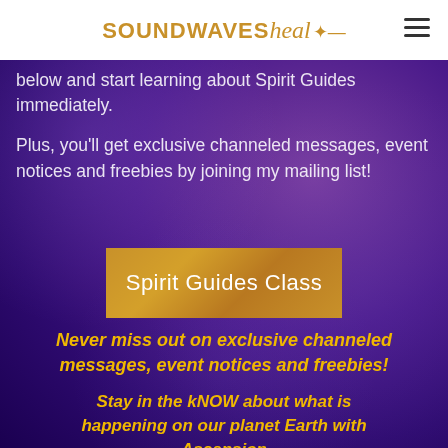SOUNDWAVESheal
below and start learning about Spirit Guides immediately.
Plus, you'll get exclusive channeled messages, event notices and freebies by joining my mailing list!
[Figure (other): Gold/orange button with white text reading 'Spirit Guides Class']
Never miss out on exclusive channeled messages, event notices and freebies!
Stay in the kNOW about what is happening on our planet Earth with Ascension